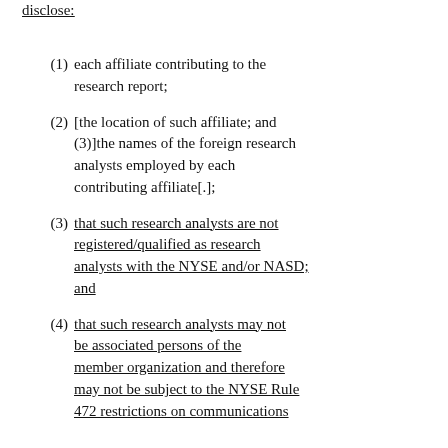member organization must (promptly) disclose:
(1) each affiliate contributing to the research report;
(2) [the location of such affiliate; and (3)]the names of the foreign research analysts employed by each contributing affiliate[.];
(3) that such research analysts are not registered/qualified as research analysts with the NYSE and/or NASD; and
(4) that such research analysts may not be associated persons of the member organization and therefore may not be subject to the NYSE Rule 472 restrictions on communications